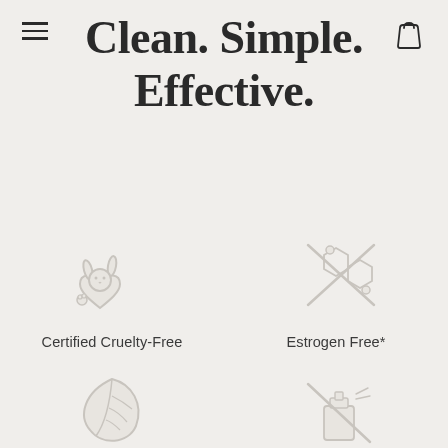Clean. Simple. Effective.
[Figure (illustration): Certified Cruelty-Free icon: a rabbit silhouette with a heart, light gray outline style]
Certified Cruelty-Free
[Figure (illustration): Estrogen Free icon: crossed-out molecular/chemical structure, light gray outline style]
Estrogen Free*
[Figure (illustration): Paraben Free icon: a leaf outline, light gray style]
Paraben Free
[Figure (illustration): Fragrance Free icon: a crossed-out perfume bottle, light gray outline style]
Fragrance Free